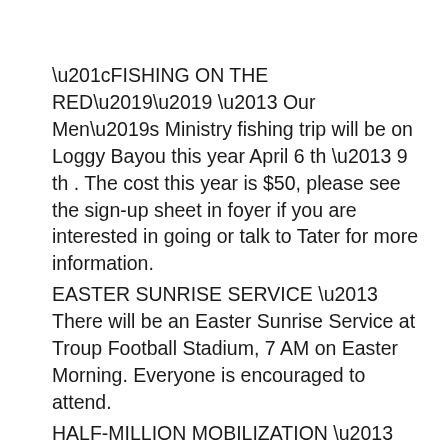“FISHING ON THE RED’’ – Our Men’s Ministry fishing trip will be on Loggy Bayou this year April 6 th – 9 th . The cost this year is $50, please see the sign-up sheet in foyer if you are interested in going or talk to Tater for more information.
EASTER SUNRISE SERVICE – There will be an Easter Sunrise Service at Troup Football Stadium, 7 AM on Easter Morning. Everyone is encouraged to attend.
HALF-MILLION MOBILIZATION – You are invited to join a 36-day prayer